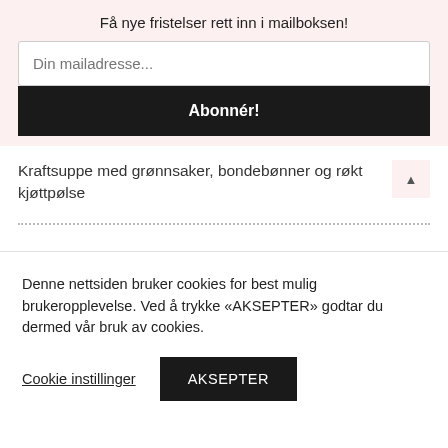Få nye fristelser rett inn i mailboksen!
Din mailadresse...
Abonnér!
Kraftsuppe med grønnsaker, bondebønner og røkt kjøttpølse
Denne nettsiden bruker cookies for best mulig brukeropplevelse. Ved å trykke «AKSEPTER» godtar du dermed vår bruk av cookies.
Cookie instillinger
AKSEPTER